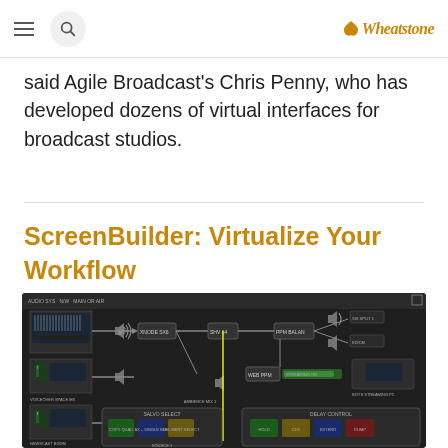Wheatstone (logo with hamburger and search)
said Agile Broadcast's Chris Penny, who has developed dozens of virtual interfaces for broadcast studios.
ScreenBuilder: Virtualize Your Workflow
[Figure (screenshot): ScreenBuilder software interface showing a signal flow diagram with nodes for XNODE, SHV, PPM Balan, audio routing connections, SALVO SELECT panel with colored buttons (green, blue, gold), and DELAY CONTROL panel with colored buttons (green, gold, blue, red). Dark background with gray and yellow connection lines.]